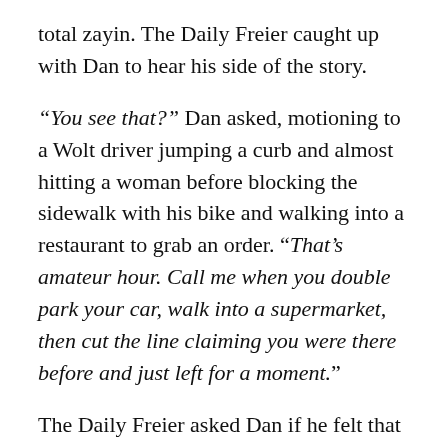total zayin. The Daily Freier caught up with Dan to hear his side of the story.
“You see that?” Dan asked, motioning to a Wolt driver jumping a curb and almost hitting a woman before blocking the sidewalk with his bike and walking into a restaurant to grab an order. “That’s amateur hour. Call me when you double park your car, walk into a supermarket, then cut the line claiming you were there before and just left for a moment.”
The Daily Freier asked Dan if he felt that the proliferation of Wolt drivers doing mildly sociopathic things was diluting his own personal brand of being a dick. “That’s a good question.” Dan